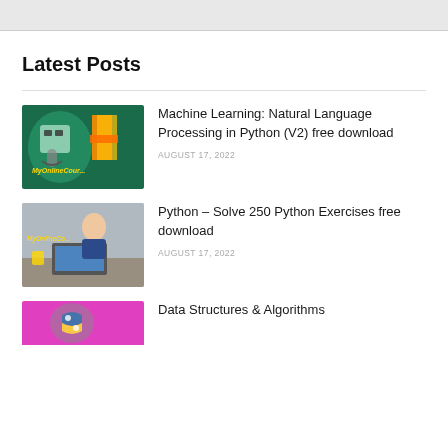Latest Posts
[Figure (photo): Thumbnail image for Machine Learning NLP post — shows a robot head, TensorFlow logo, and MyOnlineCourse branding on green background]
Machine Learning: Natural Language Processing in Python (V2) free download
AUGUST 17, 2022
[Figure (photo): Thumbnail image for Python Exercises post — shows a man working on a laptop with MyOnlineCo branding]
Python – Solve 250 Python Exercises free download
AUGUST 17, 2022
[Figure (photo): Thumbnail image for Data Structures & Algorithms post — shows a pink/purple background with a Python logo]
Data Structures & Algorithms